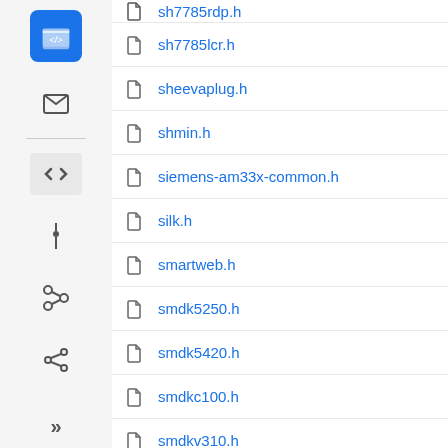sh7785rdp.h
sh7785lcr.h
sheevaplug.h
shmin.h
siemens-am33x-common.h
silk.h
smartweb.h
smdk5250.h
smdk5420.h
smdkc100.h
smdkv310.h
snapper9260.h
snapper9g45.h